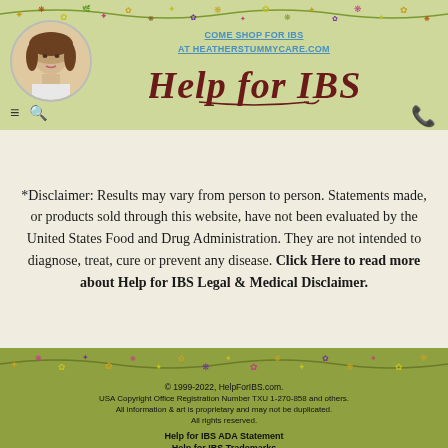[Figure (illustration): Website header with floral border decoration, circular profile photo of a woman, 'Help for IBS' cursive logo, navigation hamburger menu and search icons, phone icon]
COME SHOP FOR IBS AT HEATHERSTUMMYCARE.COM
Help for IBS
*Disclaimer: Results may vary from person to person. Statements made, or products sold through this website, have not been evaluated by the United States Food and Drug Administration. They are not intended to diagnose, treat, cure or prevent any disease. Click Here to read more about Help for IBS Legal & Medical Disclaimer.
[Figure (illustration): Floral decorative border divider with colorful flowers and leaves]
© 1999-2022, HelpForIBS.com.
USA Copyright Office Registration Number TXU 1-270-858 and others.
All information & art is proprietary and may not be duplicated.
All rights reserved.

Help for IBS ADA Statement
Help for IBS Trademarks

Site updated 8/24/2022